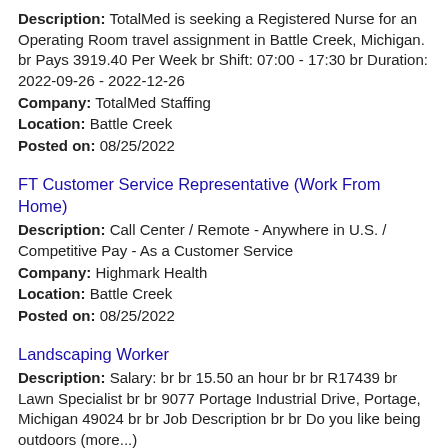Description: TotalMed is seeking a Registered Nurse for an Operating Room travel assignment in Battle Creek, Michigan. br Pays 3919.40 Per Week br Shift: 07:00 - 17:30 br Duration: 2022-09-26 - 2022-12-26
Company: TotalMed Staffing
Location: Battle Creek
Posted on: 08/25/2022
FT Customer Service Representative (Work From Home)
Description: Call Center / Remote - Anywhere in U.S. / Competitive Pay - As a Customer Service
Company: Highmark Health
Location: Battle Creek
Posted on: 08/25/2022
Landscaping Worker
Description: Salary: br br 15.50 an hour br br R17439 br Lawn Specialist br br 9077 Portage Industrial Drive, Portage, Michigan 49024 br br Job Description br br Do you like being outdoors (more...)
Company: TruGreen
Location: Battle Creek
Posted on: 08/25/2022